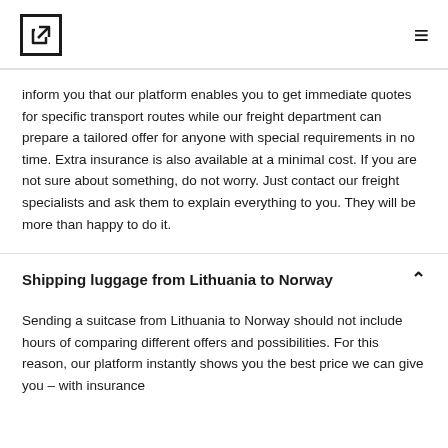[Logo] [Menu]
inform you that our platform enables you to get immediate quotes for specific transport routes while our freight department can prepare a tailored offer for anyone with special requirements in no time. Extra insurance is also available at a minimal cost. If you are not sure about something, do not worry. Just contact our freight specialists and ask them to explain everything to you. They will be more than happy to do it.
Shipping luggage from Lithuania to Norway
Sending a suitcase from Lithuania to Norway should not include hours of comparing different offers and possibilities. For this reason, our platform instantly shows you the best price we can give you – with insurance